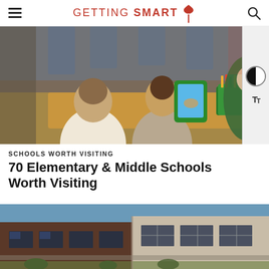GETTING SMART
[Figure (photo): Children sitting at a table using tablet computers in a classroom setting]
SCHOOLS WORTH VISITING
70 Elementary & Middle Schools Worth Visiting
[Figure (photo): Exterior of a school building with brick and light-colored facade under blue sky]